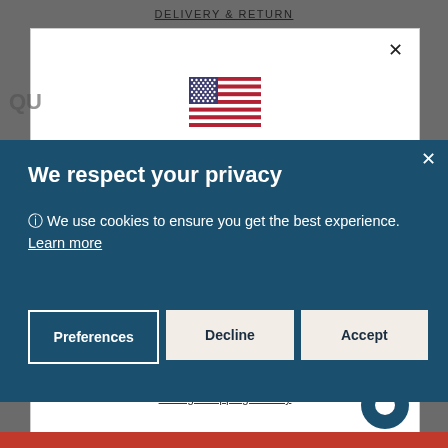DELIVERY & RETURN
[Figure (screenshot): Background e-commerce page showing a modal with US flag, blurred text, Shop now button, Change shipping country link, and chat icon]
We respect your privacy
🛈 We use cookies to ensure you get the best experience.  Learn more
Preferences
Decline
Accept